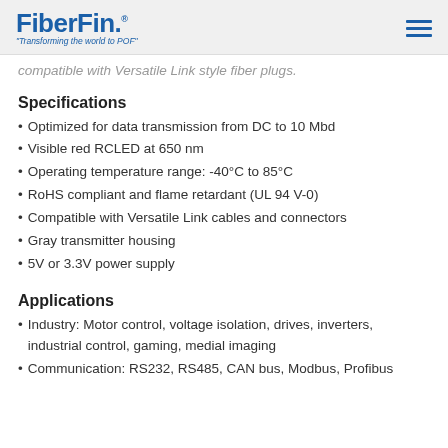FiberFin. "Transforming the world to POF"
compatible with Versatile Link style fiber plugs.
Specifications
Optimized for data transmission from DC to 10 Mbd
Visible red RCLED at 650 nm
Operating temperature range: -40°C to 85°C
RoHS compliant and flame retardant (UL 94 V-0)
Compatible with Versatile Link cables and connectors
Gray transmitter housing
5V or 3.3V power supply
Applications
Industry: Motor control, voltage isolation, drives, inverters, industrial control, gaming, medial imaging
Communication: RS232, RS485, CAN bus, Modbus, Profibus